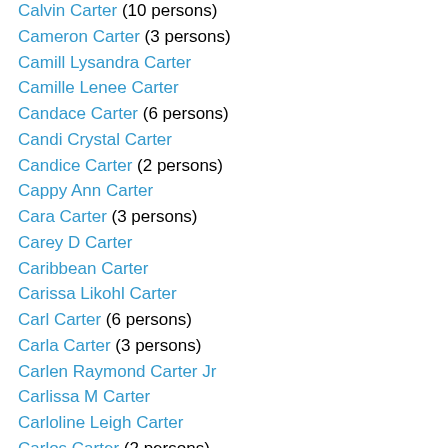Calvin Carter (10 persons)
Cameron Carter (3 persons)
Camill Lysandra Carter
Camille Lenee Carter
Candace Carter (6 persons)
Candi Crystal Carter
Candice Carter (2 persons)
Cappy Ann Carter
Cara Carter (3 persons)
Carey D Carter
Caribbean Carter
Carissa Likohl Carter
Carl Carter (6 persons)
Carla Carter (3 persons)
Carlen Raymond Carter Jr
Carlissa M Carter
Carloline Leigh Carter
Carlos Carter (2 persons)